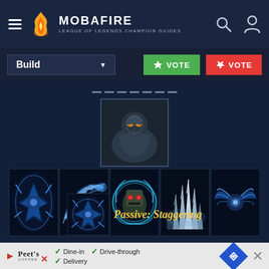MOBAFIRE — LEAGUE OF LEGENDS CHAMPION GUIDES
Build | VOTE | VOTE
[Figure (screenshot): Champion skill icons and champion portrait for a League of Legends champion guide on Mobafire. Shows a central champion portrait (armored character with glowing eyes) above a row of 5 ability icons with blue energy effects. Below is a passive ability icon with label 'Passive: Staggering'.]
Passive: Staggering
[Figure (screenshot): Advertisement banner for Peet's Coffee showing options: Dine-in, Drive-through, Delivery with a navigation arrow icon and close button.]